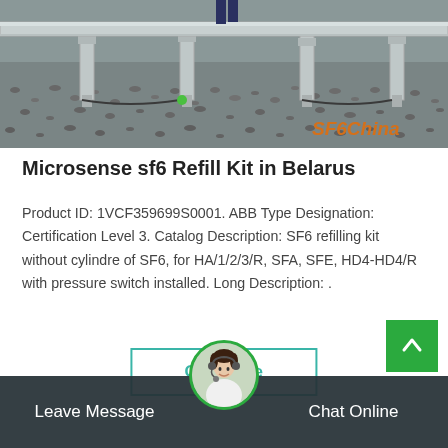[Figure (photo): Industrial SF6 equipment with metal support pillars on gravel ground, watermark 'SF6China' in orange at bottom right]
Microsense sf6 Refill Kit in Belarus
Product ID: 1VCF359699S0001. ABB Type Designation: Certification Level 3. Catalog Description: SF6 refilling kit without cylindre of SF6, for HA/1/2/3/R, SFA, SFE, HD4-HD4/R with pressure switch installed. Long Description: .
Get Price
Leave Message
Chat Online